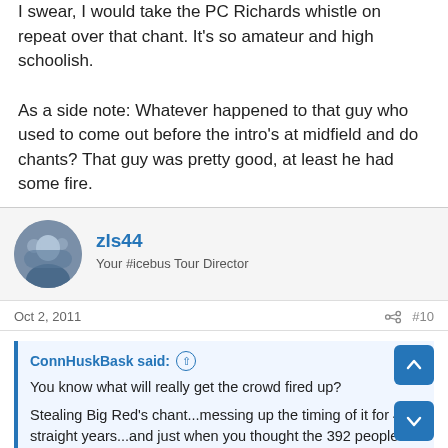I swear, I would take the PC Richards whistle on repeat over that chant. It's so amateur and high schoolish.

As a side note: Whatever happened to that guy who used to come out before the intro's at midfield and do chants? That guy was pretty good, at least he had some fire.
zls44
Your #icebus Tour Director
Oct 2, 2011  #10
ConnHuskBask said:
You know what will really get the crowd fired up?
Stealing Big Red's chant...messing up the timing of it for 4 straight years...and just when you thought the 392 people that actually did weren't pumped up enough...do it again!!!
I swear, I would take the PC Richards whistle on repeat over that chant. It's so amateur and high schoolish.
Expand ...